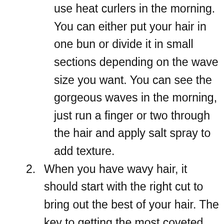use heat curlers in the morning. You can either put your hair in one bun or divide it in small sections depending on the wave size you want. You can see the gorgeous waves in the morning, just run a finger or two through the hair and apply salt spray to add texture.
2. When you have wavy hair, it should start with the right cut to bring out the best of your hair. The key to getting the most coveted beachy waves is to layer your hair correctly so that it will curl the right way this is according to celebrity hairstylist. The layering should be emphasised around the face to get the correct look.
3. (partial, cut off)